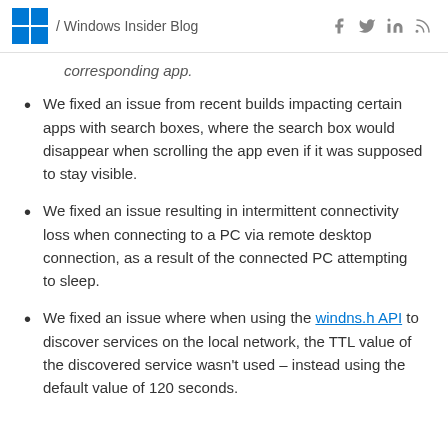/ Windows Insider Blog
corresponding app.
We fixed an issue from recent builds impacting certain apps with search boxes, where the search box would disappear when scrolling the app even if it was supposed to stay visible.
We fixed an issue resulting in intermittent connectivity loss when connecting to a PC via remote desktop connection, as a result of the connected PC attempting to sleep.
We fixed an issue where when using the windns.h API to discover services on the local network, the TTL value of the discovered service wasn't used – instead using the default value of 120 seconds.